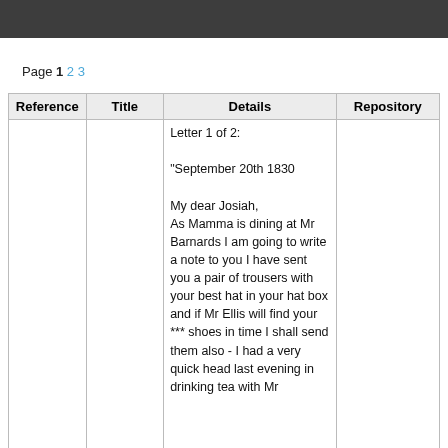Page 1 2 3
| Reference | Title | Details | Repository |
| --- | --- | --- | --- |
|  |  | Letter 1 of 2:

"September 20th 1830

My dear Josiah,
As Mamma is dining at Mr Barnards I am going to write a note to you I have sent you a pair of trousers with your best hat in your hat box and if Mr Ellis will find your *** shoes in time I shall send them also - I had a very quick head last evening in drinking tea with Mr |  |